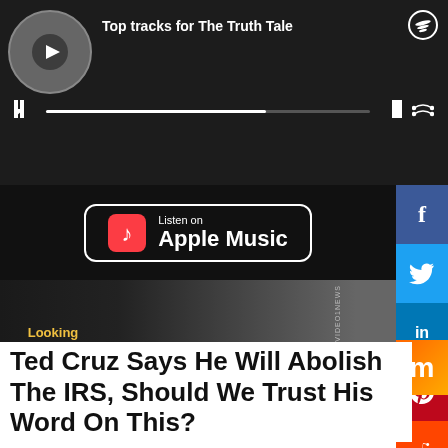[Figure (screenshot): Spotify player showing 'Top tracks for The Truth Tale' with album art, progress bar, and playback controls on dark background]
[Figure (screenshot): Listen on Apple Music button with music note icon on dark background]
[Figure (screenshot): Video 1 News banner with text 'Looking Beyond The Mainstream News' and 'Video 1 News' logo with camera and microphone imagery]
[Figure (screenshot): Social media share sidebar with Facebook, Twitter, LinkedIn, Pinterest, Reddit buttons]
Ted Cruz Says He Will Abolish The IRS, Should We Trust His Word On This?